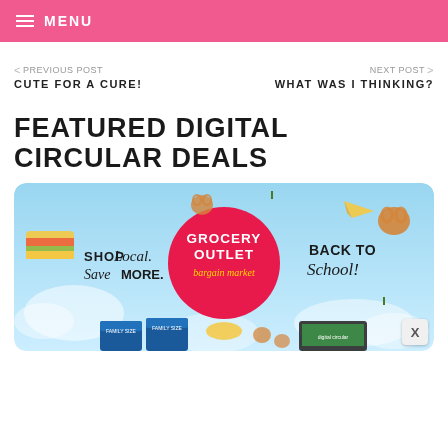MENU
< PREVIOUS POST
CUTE FOR A CURE!
NEXT POST >
WHAT WAS I THINKING?
FEATURED DIGITAL CIRCULAR DEALS
[Figure (illustration): Grocery Outlet Bargain Market Back to School advertisement banner. Light blue sky background with food items including pretzels, sandwich, chips, peach, and school supplies. Center has a pink circle with 'GROCERY OUTLET bargain market' logo. Left side says 'SHOP Local. Save MORE.' Right side says 'BACK TO School!' Bottom shows product packages and a tablet device.]